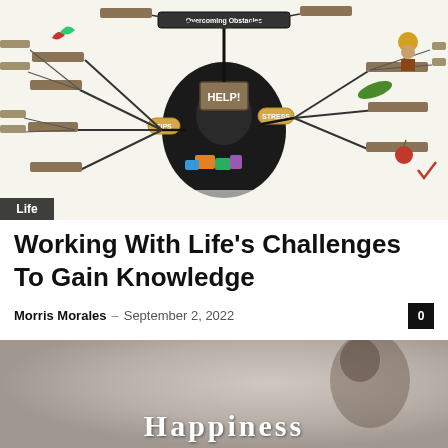[Figure (illustration): A colorful mind map about 'Overcoming Obstacles' with a central figure holding a 'HELP!' sign, surrounded by branching nodes with tips, strategies and life topics. Small cartoon illustrations appear around the edges. A 'Life' badge appears in the bottom-left corner.]
Working With Life’s Challenges To Gain Knowledge
Morris Morales – September 2, 2022
[Figure (photo): A partially visible photo with a blurred background showing a person. The word 'Happiness' appears in large white serif text at the bottom of the image.]